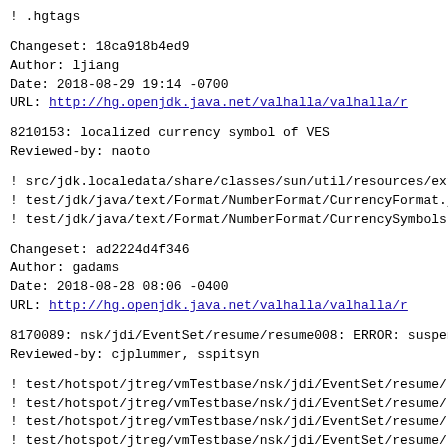! .hgtags
Changeset: 18ca918b4ed9
Author:    ljiang
Date:      2018-08-29 19:14 -0700
URL:       http://hg.openjdk.java.net/valhalla/valhalla/r
8210153: localized currency symbol of VES
Reviewed-by: naoto
! src/jdk.localedata/share/classes/sun/util/resources/ext
! test/jdk/java/text/Format/NumberFormat/CurrencyFormat.j
! test/jdk/java/text/Format/NumberFormat/CurrencySymbols
Changeset: ad2224d4f346
Author:    gadams
Date:      2018-08-28 08:06 -0400
URL:       http://hg.openjdk.java.net/valhalla/valhalla/r
8170089: nsk/jdi/EventSet/resume/resume008: ERROR: suspen
Reviewed-by: cjplummer, sspitsyn
! test/hotspot/jtreg/vmTestbase/nsk/jdi/EventSet/resume/r
! test/hotspot/jtreg/vmTestbase/nsk/jdi/EventSet/resume/r
! test/hotspot/jtreg/vmTestbase/nsk/jdi/EventSet/resume/r
! test/hotspot/jtreg/vmTestbase/nsk/jdi/EventSet/resume/r
! test/hotspot/jtreg/vmTestbase/nsk/jdi/EventSet/resume/r
! test/hotspot/jtreg/vmTestbase/nsk/jdi/EventSet/resume/r
! test/hotspot/jtreg/vmTestbase/nsk/jdi/EventSet/resume/r
! test/hotspot/jtreg/vmTestbase/nsk/jdi/EventSet/resume/r